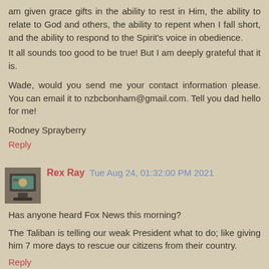am given grace gifts in the ability to rest in Him, the ability to relate to God and others, the ability to repent when I fall short, and the ability to respond to the Spirit's voice in obedience.
It all sounds too good to be true! But I am deeply grateful that it is.
Wade, would you send me your contact information please. You can email it to nzbcbonham@gmail.com. Tell you dad hello for me!
Rodney Sprayberry
Reply
Rex Ray  Tue Aug 24, 01:32:00 PM 2021
Has anyone heard Fox News this morning?
The Taliban is telling our weak President what to do; like giving him 7 more days to rescue our citizens from their country.
Reply